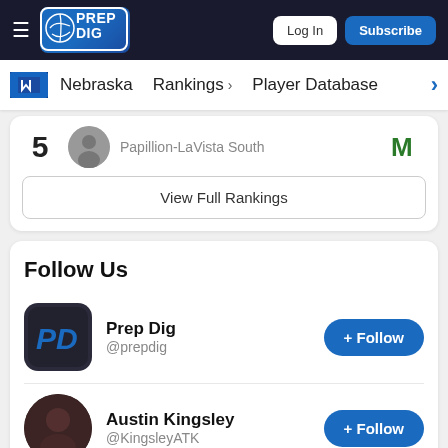Prep Dig — Log In | Subscribe
Nebraska  Rankings  Player Database
5  Papillion-LaVista South
View Full Rankings
Follow Us
Prep Dig @prepdig + Follow
Austin Kingsley @KingsleyATK + Follow